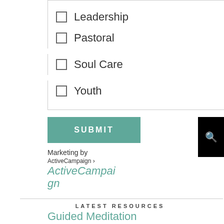☐ Leadership
☐ Pastoral
☐ Soul Care
☐ Youth
SUBMIT
Marketing by
ActiveCampaign > ActiveCampaign
LATEST RESOURCES
Guided Meditation
Easter Family Follow-Up